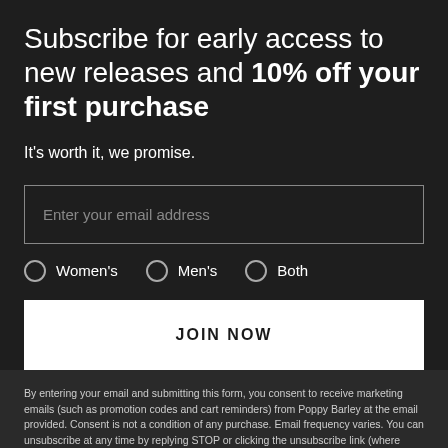Subscribe for early access to new releases and 10% off your first purchase
It's worth it, we promise.
Enter your email address
Women's
Men's
Both
JOIN NOW
By entering your email and submitting this form, you consent to receive marketing emails (such as promotion codes and cart reminders) from Poppy Barley at the email provided. Consent is not a condition of any purchase. Email frequency varies. You can unsubscribe at any time by replying STOP or clicking the unsubscribe link (where available) in one of our emails. View our Privacy Policy and Terms of Service.